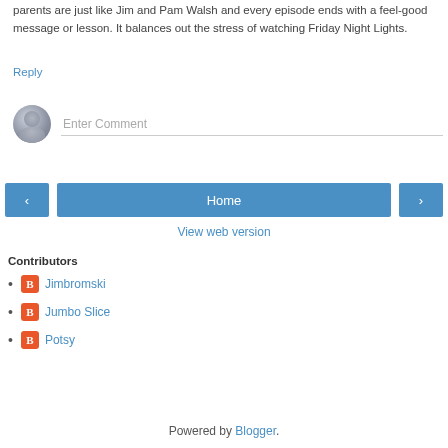parents are just like Jim and Pam Walsh and every episode ends with a feel-good message or lesson. It balances out the stress of watching Friday Night Lights.
Reply
Enter Comment
Home
View web version
Contributors
Jimbromski
Jumbo Slice
Potsy
Powered by Blogger.